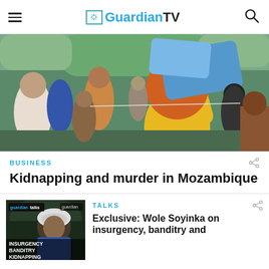GuardianTV
[Figure (photo): Crowd scene outdoors, a woman in yellow top and orange headscarf raises her arm holding a blue cloth, other people visible in background]
BUSINESS
Kidnapping and murder in Mozambique
[Figure (screenshot): Thumbnail for Guardian Talks video with text: INSURGENCY BANDITRY KIDNAPPING, showing elderly man with white hair]
TALKS
Exclusive: Wole Soyinka on insurgency, banditry and